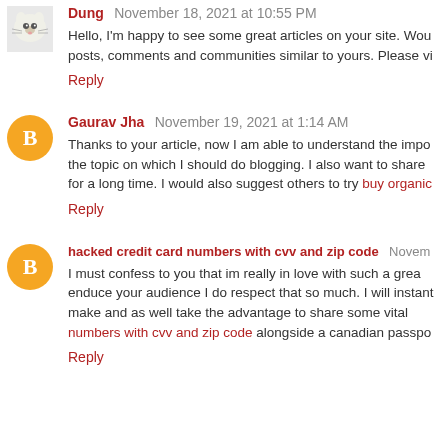Dung November 18, 2021 at 10:55 PM
Hello, I'm happy to see some great articles on your site. Wou... posts, comments and communities similar to yours. Please vi...
Reply
Gaurav Jha November 19, 2021 at 1:14 AM
Thanks to your article, now I am able to understand the impo... the topic on which I should do blogging. I also want to share ... for a long time. I would also suggest others to try buy organic...
Reply
hacked credit card numbers with cvv and zip code Novem...
I must confess to you that im really in love with such a grea... enduce your audience I do respect that so much. I will instant... make and as well take the advantage to share some vital ... numbers with cvv and zip code alongside a canadian passpo...
Reply